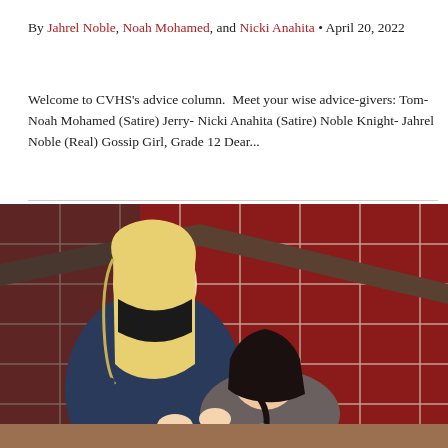By Jahrel Noble, Noah Mohamed, and Nicki Anahita • April 20, 2022
Welcome to CVHS's advice column.  Meet your wise advice-givers: Tom- Noah Mohamed (Satire) Jerry- Nicki Anahita (Satire) Noble Knight- Jahrel Noble (Real) Gossip Girl, Grade 12 Dear...
[Figure (photo): A blonde girl wearing a black face mask braids the dark hair of another person seated in front of her, against a red tiled wall in what appears to be a school hallway.]